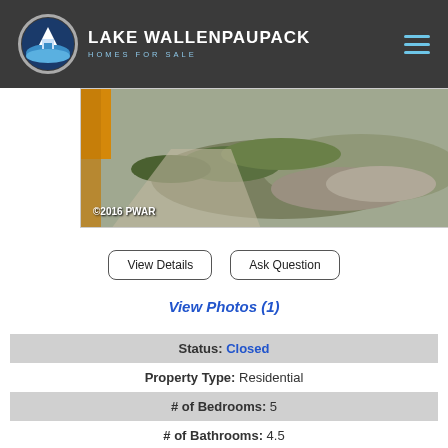LAKE WALLENPAUPACK HOMES FOR SALE
[Figure (photo): Outdoor property photo showing grassy hillside with rock, corner of yellow/orange building visible on left, watermark text ©2016 PWAR]
View Details | Ask Question
View Photos (1)
Status: Closed
Property Type: Residential
# of Bedrooms: 5
# of Bathrooms: 4.5
Square Footage: 9134
Year Built: 2003
Area: Palmyra Twp - Pike County